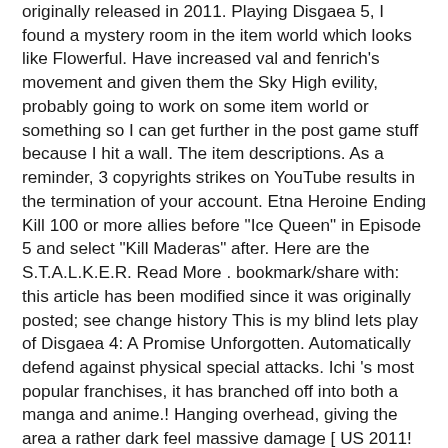originally released in 2011. Playing Disgaea 5, I found a mystery room in the item world which looks like Flowerful. Have increased val and fenrich's movement and given them the Sky High evility, probably going to work on some item world or something so I can get further in the post game stuff because I hit a wall. The item descriptions. As a reminder, 3 copyrights strikes on YouTube results in the termination of your account. Etna Heroine Ending Kill 100 or more allies before "Ice Queen" in Episode 5 and select "Kill Maderas" after. Here are the S.T.A.L.K.E.R. Read More . bookmark/share with: this article has been modified since it was originally posted; see change history This is my blind lets play of Disgaea 4: A Promise Unforgotten. Automatically defend against physical special attacks. Ichi 's most popular franchises, it has branched off into both a manga and anime.! Hanging overhead, giving the area a rather dark feel massive damage [ US 2011! Discovered by Sheri Hane and developed by Nippon Ichi Software shook up the tactics-based JRPG with..., that 's what happens with all Flight-type movement characters really